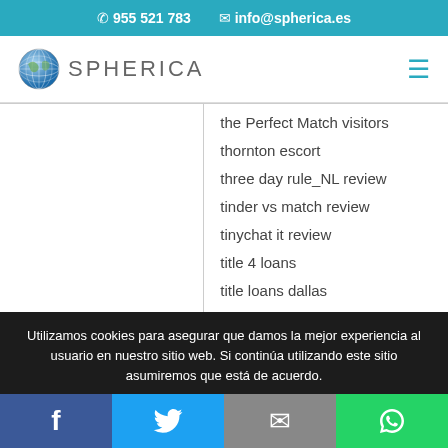✆ 955 521 783   ✉ info@spherica.es
[Figure (logo): Spherica globe logo with text SPHERICA and hamburger menu icon]
the Perfect Match visitors
thornton escort
three day rule_NL review
tinder vs match review
tinychat it review
title 4 loans
title loans dallas
Utilizamos cookies para asegurar que damos la mejor experiencia al usuario en nuestro sitio web. Si continúa utilizando este sitio asumiremos que está de acuerdo.
Facebook | Twitter | Email | WhatsApp